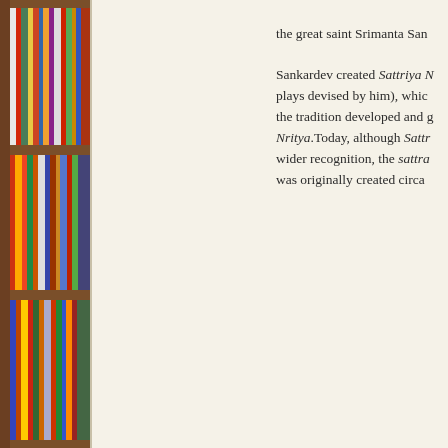[Figure (photo): A photograph of a bookshelf filled with many colorful books of various sizes, arranged vertically on dark wooden shelves. Multiple shelves are visible from top to bottom.]
the great saint Srimanta San

Sankardev created Sattriya N plays devised by him), whic the tradition developed and g Nritya.Today, although Satr wider recognition, the sattra was originally created circa